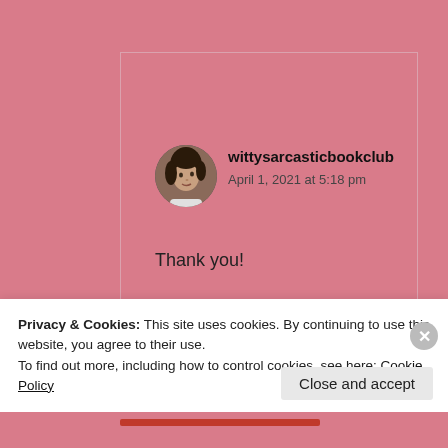[Figure (screenshot): WordPress comment section screenshot showing a comment by wittysarcasticbookclub dated April 1, 2021 at 5:18 pm with text 'Thank you!', a Liked by 1 person link, and a Reply link. Overlaid by a cookie consent banner at the bottom.]
wittysarcasticbookclub
April 1, 2021 at 5:18 pm
Thank you!
★ Liked by 1 person
↳ Reply
Privacy & Cookies: This site uses cookies. By continuing to use this website, you agree to their use.
To find out more, including how to control cookies, see here: Cookie Policy
Close and accept